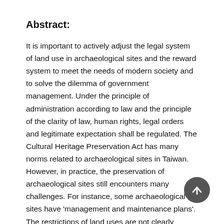Abstract:
It is important to actively adjust the legal system of land use in archaeological sites and the reward system to meet the needs of modern society and to solve the dilemma of government management. Under the principle of administration according to law and the principle of the clarity of law, human rights, legal orders and legitimate expectation shall be regulated. The Cultural Heritage Preservation Act has many norms related to archaeological sites in Taiwan. However, in practice, the preservation of archaeological sites still encounters many challenges. For instance, some archaeological sites have 'management and maintenance plans'. The restrictions of land uses are not clearly defined making it difficult to determine how planting types and cultivation methods will impact the underground relics. In addition, there are questions as